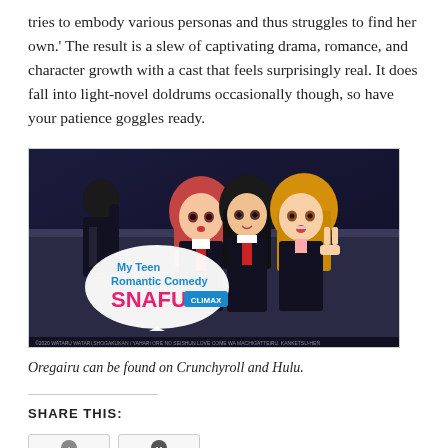tries to embody various personas and thus struggles to find her own.' The result is a slew of captivating drama, romance, and character growth with a cast that feels surprisingly real. It does fall into light-novel doldrums occasionally though, so have your patience goggles ready.
[Figure (illustration): Anime promotional image for 'My Teen Romantic Comedy SNAFU Climax' showing three anime girls in school uniforms and a male character in the background against a dark blue background.]
Oregairu can be found on Crunchyroll and Hulu.
SHARE THIS: